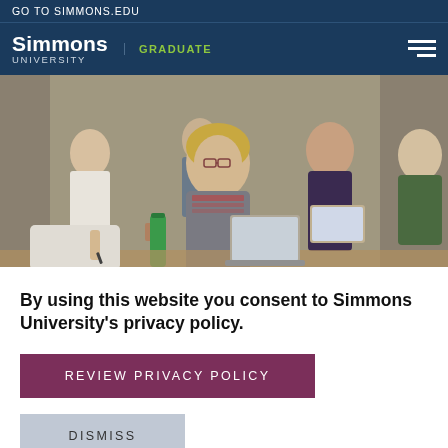GO TO SIMMONS.EDU
[Figure (logo): Simmons University logo with 'GRADUATE' label and hamburger menu icon on dark navy background]
[Figure (photo): Classroom photo showing several adult students seated at desks with laptops and water bottles; a woman with blonde hair and glasses looks toward camera]
By using this website you consent to Simmons University's privacy policy.
REVIEW PRIVACY POLICY
DISMISS